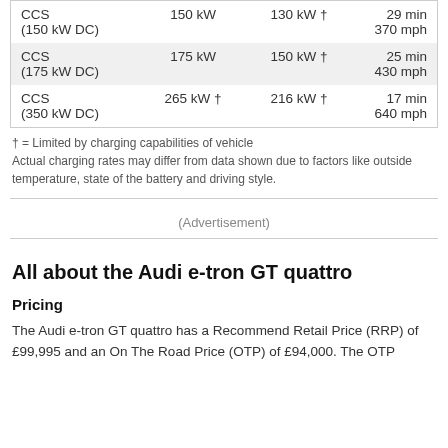| Type | Charger Power | Actual Power | Time/Range |
| --- | --- | --- | --- |
| CCS (150 kW DC) | 150 kW | 130 kW † | 29 min
370 mph |
| CCS (175 kW DC) | 175 kW | 150 kW † | 25 min
430 mph |
| CCS (350 kW DC) | 265 kW † | 216 kW † | 17 min
640 mph |
† = Limited by charging capabilities of vehicle
Actual charging rates may differ from data shown due to factors like outside temperature, state of the battery and driving style.
(Advertisement)
All about the Audi e-tron GT quattro
Pricing
The Audi e-tron GT quattro has a Recommend Retail Price (RRP) of £99,995 and an On The Road Price (OTP) of £94,000. The OTP